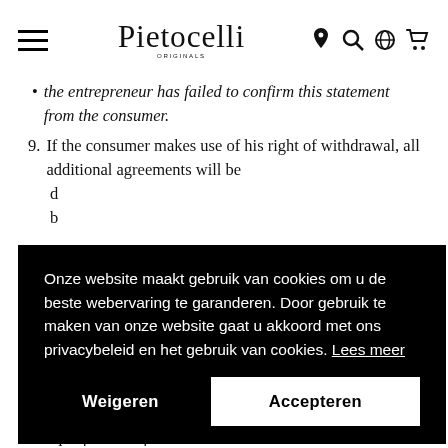Pietocelli [logo] [hamburger menu] [icons: location, search, globe, cart]
the entrepreneur has failed to confirm this statement from the consumer.
9. If the consumer makes use of his right of withdrawal, all additional agreements will be dissolved by law without additional costs, unless agreed otherwise by the entrepreneur.
Article [x]: Obligations in case [...]
1. In case [...]
[Figure (screenshot): Cookie consent overlay with text in Dutch: 'Onze website maakt gebruik van cookies om u de beste webervaring te garanderen. Door gebruik te maken van onze website gaat u akkoord met ons privacybeleid en het gebruik van cookies. Lees meer' and two buttons: 'Weigeren' and 'Accepteren']
receipt of this notification.